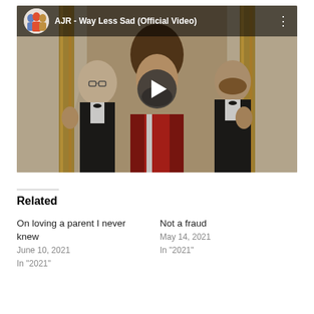[Figure (screenshot): YouTube video thumbnail for 'AJR - Way Less Sad (Official Video)' showing three men, one in a red jacket in the foreground and two in tuxedos behind him, holding golden poles. A play button overlay is visible in the center.]
Related
On loving a parent I never knew
June 10, 2021
In "2021"
Not a fraud
May 14, 2021
In "2021"